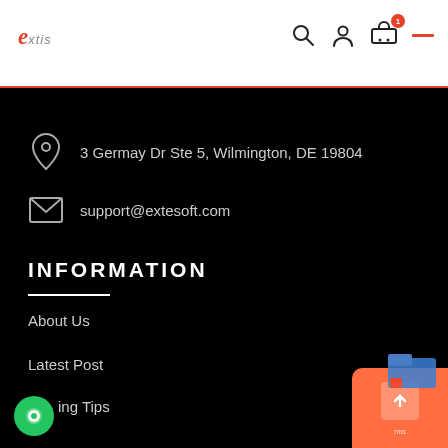extis — navigation header with search, user, cart (1 item), and menu icons
3 Germay Dr Ste 5, Wilmington, DE 19804
support@extesoft.com
INFORMATION
About Us
Latest Post
ing Tips